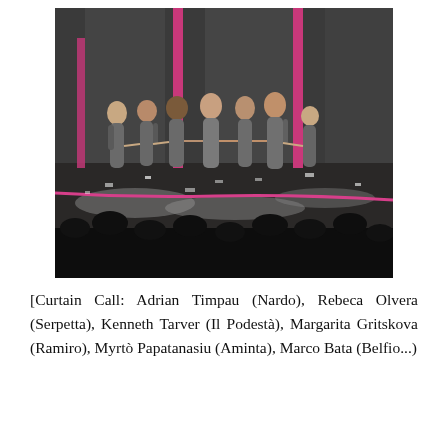[Figure (photo): Curtain call photo of opera performers on stage wearing grey robes, standing in a line holding hands. The stage has pink/magenta frame elements and scattered white confetti/debris. An audience is visible in the foreground, silhouetted.]
[Curtain Call: Adrian Timpau (Nardo), Rebeca Olvera (Serpetta), Kenneth Tarver (Il Podestà), Margarita Gritskova (Ramiro), Myrtò Papatanasiu (Aminta), Marco Bata (Belfio...